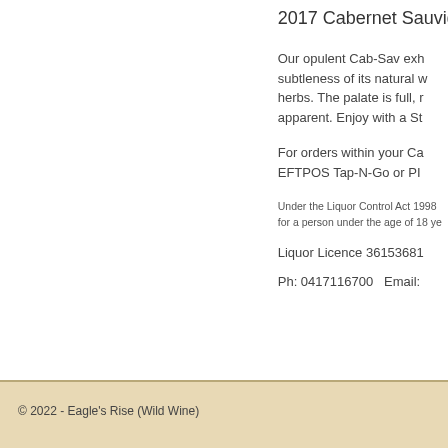2017 Cabernet Sauvignon
Our opulent Cab-Sav exhibits the subtleness of its natural w... herbs. The palate is full, r... apparent. Enjoy with a St...
For orders within your Ca... EFTPOS Tap-N-Go or PI...
Under the Liquor Control Act 1998 for a person under the age of 18 y...
Liquor Licence 36153681
Ph: 0417116700   Email:
© 2022 - Eagle's Rise (Wild Wine)